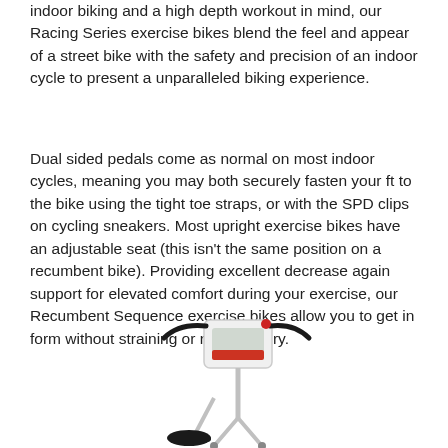indoor biking and a high depth workout in mind, our Racing Series exercise bikes blend the feel and appear of a street bike with the safety and precision of an indoor cycle to present a unparalleled biking experience.
Dual sided pedals come as normal on most indoor cycles, meaning you may both securely fasten your ft to the bike using the tight toe straps, or with the SPD clips on cycling sneakers. Most upright exercise bikes have an adjustable seat (this isn't the same position on a recumbent bike). Providing excellent decrease again support for elevated comfort during your exercise, our Recumbent Sequence exercise bikes allow you to get in form without straining or risking injury.
[Figure (illustration): An illustration of an upright exercise bike with a white console/display unit at the top, black handlebars curving outward, a slim silver frame, and a black saddle seat visible at the lower portion of the image.]